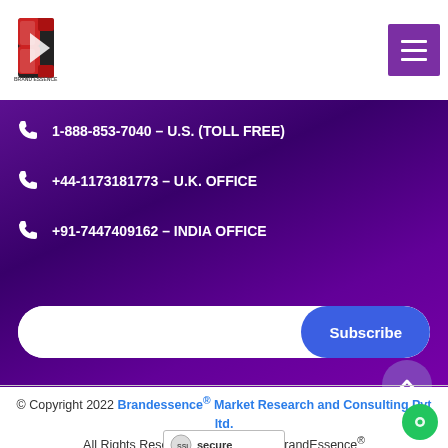[Figure (logo): BrandEssence logo with B letter and arrow]
1-888-853-7040 – U.S. (TOLL FREE)
+44-1173181773 – U.K. OFFICE
+91-7447409162 – INDIA OFFICE
Subscribe
© Copyright 2022 Brandessence® Market Research and Consulting Pvt ltd. All Rights Reserved | Designed by BrandEssence®
[Figure (logo): SSL Secure badge/logo]